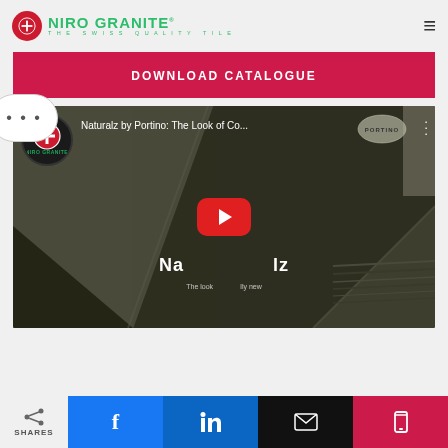NIRO GRANITE - THE SWISS QUALITY TILE
DOWNLOAD CATALOGUE
[Figure (screenshot): YouTube video thumbnail for 'Naturalz by Portino: The Look of Co...' showing a concrete architectural interior. A large red YouTube play button is centered. The Niro Granite logo appears top-left and Portino logo top-right. Text overlay reads 'Naturalz' and 'The look of totally new'.]
SHARES | Facebook | LinkedIn | Email | Phone